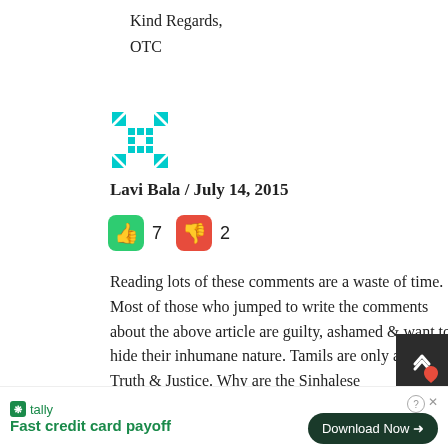Kind Regards,
OTC
[Figure (other): User avatar / identicon — teal/green pixel pattern on white background]
Lavi Bala / July 14, 2015
👍 7  👎 2
Reading lots of these comments are a waste of time. Most of those who jumped to write the comments about the above article are guilty, ashamed & want to hide their inhumane nature. Tamils are only asking for Truth & Justice. Why are the Sinhalese
[Figure (other): Tally app advertisement banner: 'Fast credit card payoff' with Download Now button, help/close icons, and scroll-to-top button]